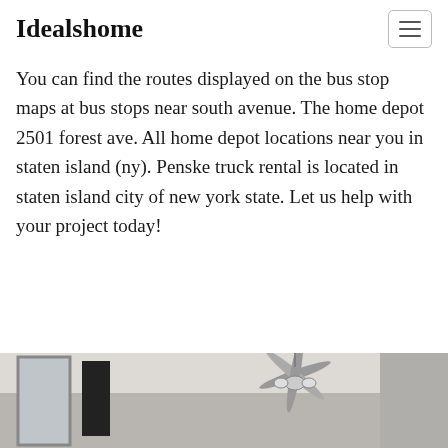Idealshome
You can find the routes displayed on the bus stop maps at bus stops near south avenue. The home depot 2501 forest ave. All home depot locations near you in staten island (ny). Penske truck rental is located in staten island city of new york state. Let us help with your project today!
[Figure (photo): Interior room photo showing ceiling fan and mirror, partial view from bottom of page]